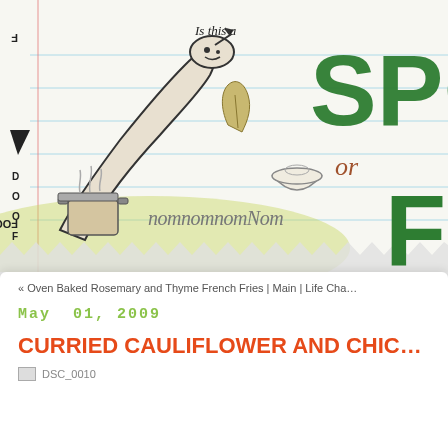[Figure (illustration): Food blog header banner with notebook-lined background, large decorative spoon illustration with feather/face design, cooking pots, bowl, text 'Is this a SPO or F' in green marker style, 'or' in brown cursive, 'nomnomnomNom' text, yellow-green blob background, zigzag bottom edge, vertical 'FOOD' text on left side]
« Oven Baked Rosemary and Thyme French Fries | Main | Life Cha...
May  01, 2009
CURRIED CAULIFLOWER AND CHIC...
[Figure (photo): DSC_0010 - photo of curried cauliflower and chickpea dish]